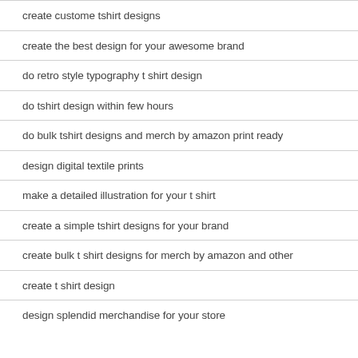create custome tshirt designs
create the best design for your awesome brand
do retro style typography t shirt design
do tshirt design within few hours
do bulk tshirt designs and merch by amazon print ready
design digital textile prints
make a detailed illustration for your t shirt
create a simple tshirt designs for your brand
create bulk t shirt designs for merch by amazon and other
create t shirt design
design splendid merchandise for your store